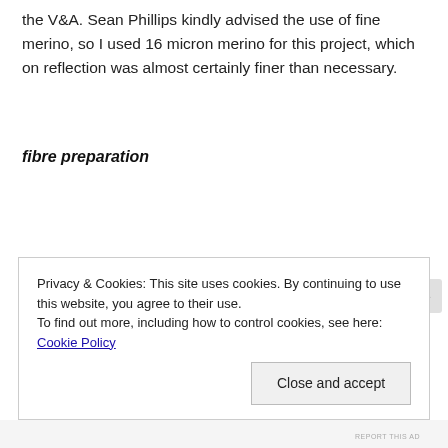the V&A. Sean Phillips kindly advised the use of fine merino, so I used 16 micron merino for this project, which on reflection was almost certainly finer than necessary.
fibre preparation
Privacy & Cookies: This site uses cookies. By continuing to use this website, you agree to their use.
To find out more, including how to control cookies, see here: Cookie Policy
Close and accept